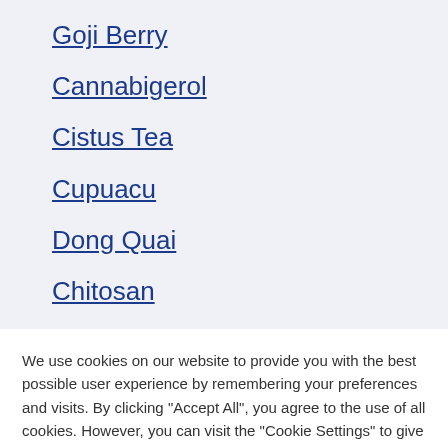Goji Berry
Cannabigerol
Cistus Tea
Cupuacu
Dong Quai
Chitosan
We use cookies on our website to provide you with the best possible user experience by remembering your preferences and visits. By clicking "Accept All", you agree to the use of all cookies. However, you can visit the "Cookie Settings" to give specific consents.
Settings | Accept all